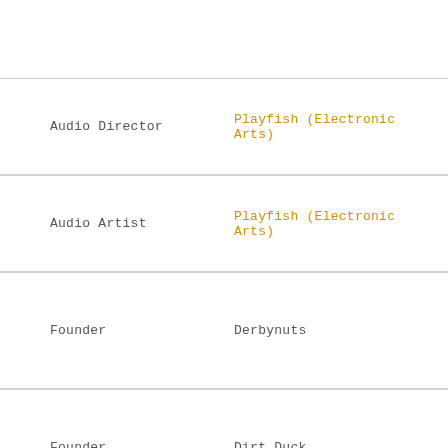| Role | Company |
| --- | --- |
| Audio Director | Playfish (Electronic Arts) |
| Audio Artist | Playfish (Electronic Arts) |
| Founder | Derbynuts |
| Founder | Dirt Duck |